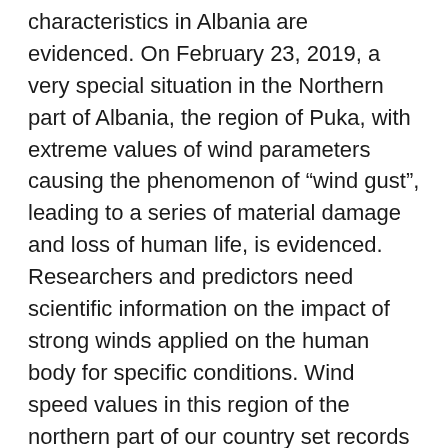characteristics in Albania are evidenced. On February 23, 2019, a very special situation in the Northern part of Albania, the region of Puka, with extreme values of wind parameters causing the phenomenon of "wind gust", leading to a series of material damage and loss of human life, is evidenced. Researchers and predictors need scientific information on the impact of strong winds applied on the human body for specific conditions. Wind speed values in this region of the northern part of our country set records reaching extremely values (30 ÷ 35) ms-1 on the ground level. Taking a cue from this unprecedented situation, the effect of strong winds on the determination of aerodynamic forces acting on the human body using numerical simulations has been studied and so far, well investigated. For this study, we considered a human body with a height of 172cm. The investigation takes into account two different